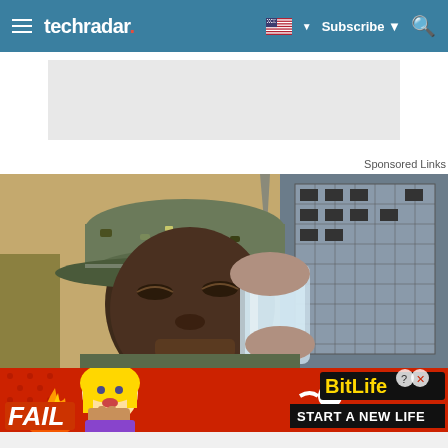techradar (navigation bar with hamburger menu, flag, Subscribe, search icon)
[Figure (other): Gray advertisement placeholder box]
Sponsored Links
[Figure (photo): A soldier in camouflage uniform and cap drinking from a clear plastic water bottle, outdoors near military equipment]
[Figure (infographic): BitLife game advertisement banner with FAIL text, animated character, flame, sperm icon, BitLife logo, and START A NEW LIFE text]